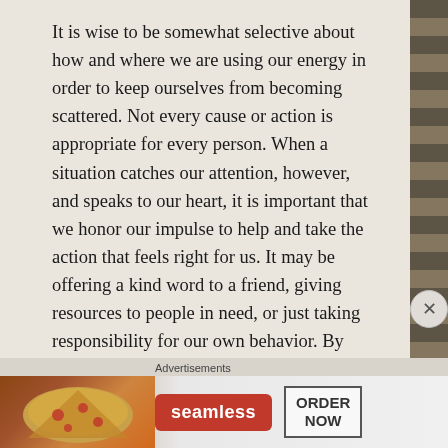It is wise to be somewhat selective about how and where we are using our energy in order to keep ourselves from becoming scattered. Not every cause or action is appropriate for every person. When a situation catches our attention, however, and speaks to our heart, it is important that we honor our impulse to help and take the action that feels right for us. It may be offering a kind word to a friend, giving resources to people in need, or just taking responsibility for our own behavior. By doing what we can, when we can, we add positive energy to our world. And sometimes, it may be our one contribution that makes all the difference.
Posted on August 30, 2012 by ladyoftheabyss
Advertisements
[Figure (screenshot): Seamless food delivery advertisement banner showing pizza image on left, red Seamless logo badge in center, and 'ORDER NOW' button on right]